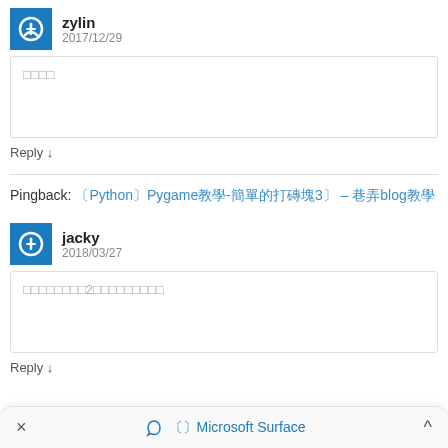zylin
2017/12/29
□□□□
Reply ↓
Pingback: 〔Python〕Pygame教學-簡單的打磚塊3〕 – 巷弄blog教學
jacky
2018/03/27
□□□□□□□□2□□□□□□□□□
Reply ↓
× 〔〕Microsoft Surface ^